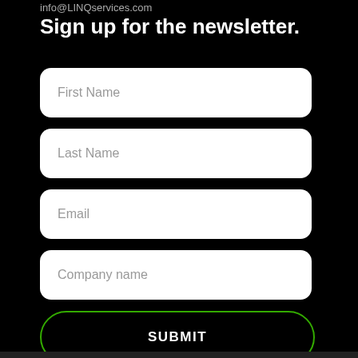info@LINQservices.com
Sign up for the newsletter.
First Name
Last Name
Email
Company name
SUBMIT